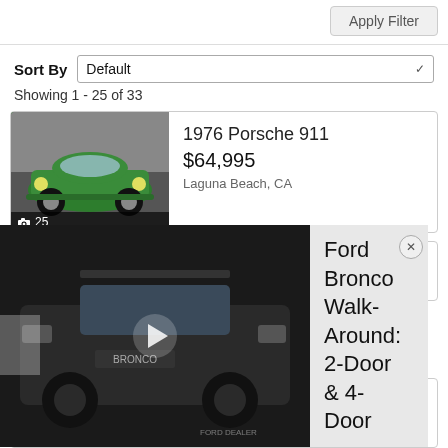Apply Filter
Sort By   Default
Showing 1 - 25 of 33
1976 Porsche 911
$64,995
Laguna Beach, CA
[Figure (photo): Green 1976 Porsche 911 parked indoors, 25 photos]
1989 Porsche 944
[Figure (screenshot): Video overlay: Ford Bronco Walk-Around 2-Door and 4-Door video thumbnail with play button, showing a black Ford Bronco. Caption: Ford Bronco Walk-Around: 2-Door & 4-Door]
Contact Seller
Seekonk, MA
[Figure (photo): Blue Porsche 356 or similar classic car, 14 photos]